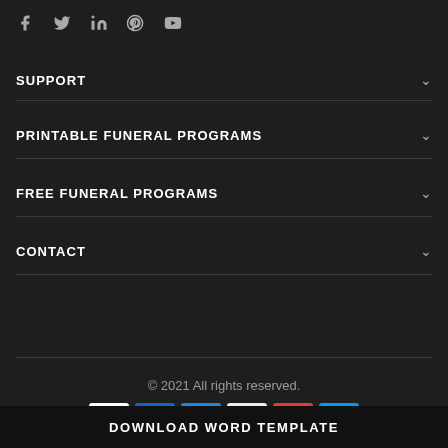[Figure (other): Social media icons row: Facebook, Twitter, LinkedIn, Pinterest, YouTube]
SUPPORT
PRINTABLE FUNERAL PROGRAMS
FREE FUNERAL PROGRAMS
CONTACT
© 2021 All rights reserved.
[Figure (other): Payment method icons row]
DOWNLOAD WORD TEMPLATE